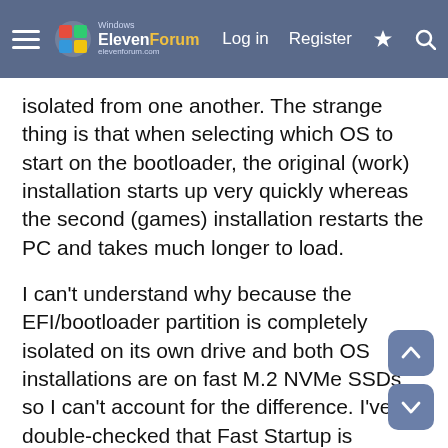Windows ElevenForum — Log in | Register
isolated from one another. The strange thing is that when selecting which OS to start on the bootloader, the original (work) installation starts up very quickly whereas the second (games) installation restarts the PC and takes much longer to load.
I can't understand why because the EFI/bootloader partition is completely isolated on its own drive and both OS installations are on fast M.2 NVMe SSDs so I can't account for the difference. I've double-checked that Fast Startup is disabled on each, there is no hibernate file and neither are encrypted or have any substantial difference in configuration.
Could anybody provide any insight into this? I'd appreciate it.